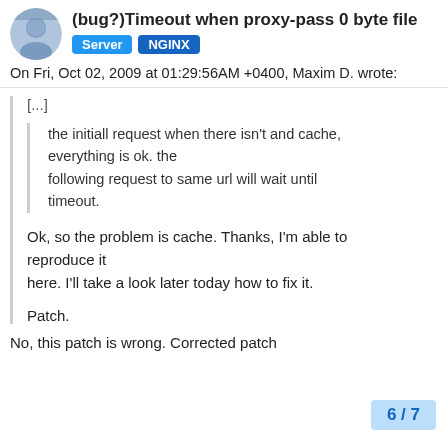(bug?)Timeout when proxy-pass 0 byte file
Server   NGINX
On Fri, Oct 02, 2009 at 01:29:56AM +0400, Maxim D. wrote:
[...]
the initiall request when there isn't and cache, everything is ok. the following request to same url will wait until timeout.
Ok, so the problem is cache. Thanks, I'm able to reproduce it here. I'll take a look later today how to fix it.
Patch.
No, this patch is wrong. Corrected patch
6 / 7